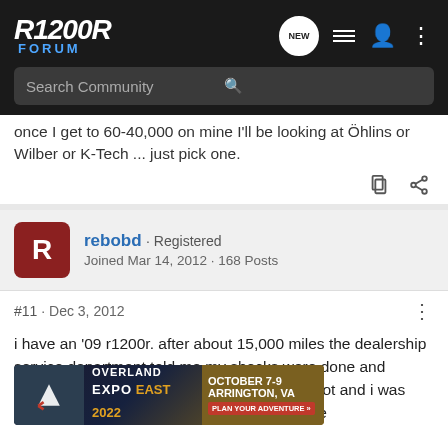R1200R FORUM
once I get to 60-40,000 on mine I'll be looking at Öhlins or Wilber or K-Tech ... just pick one.
rebobd · Registered
Joined Mar 14, 2012 · 168 Posts
#11 · Dec 3, 2012
i have an '09 r1200r. after about 15,000 miles the dealership service department told me my shocks were done and needed to be replaced. 15,000 miles is not alot and i was disappointed the facto riding i had don l of the
[Figure (screenshot): Overland Expo East 2022 advertisement banner: October 7-9, Arrington, VA. Plan Your Adventure.]